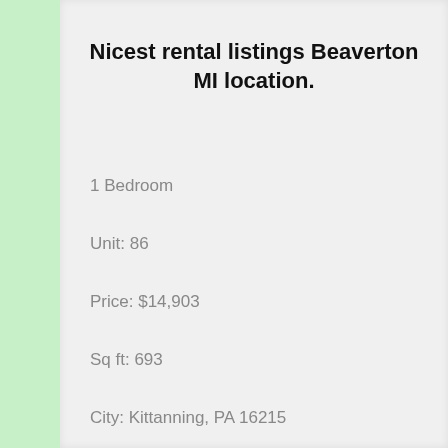[Figure (photo): Partial photo of a rental property at the top of the page]
Nicest rental listings Beaverton MI location.
1 Bedroom
Unit: 86
Price: $14,903
Sq ft: 693
City: Kittanning, PA 16215